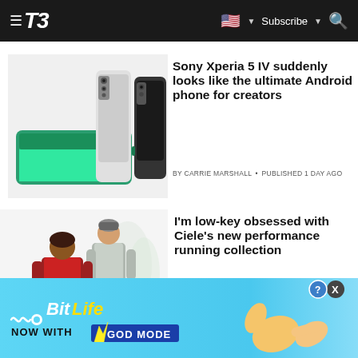T3 — Subscribe
[Figure (photo): Sony Xperia 5 IV phones in green, silver and black colorways shown from front and back]
Sony Xperia 5 IV suddenly looks like the ultimate Android phone for creators
BY CARRIE MARSHALL • PUBLISHED 1 DAY AGO
[Figure (photo): Two people wearing athletic running gear, one in a red jacket and the other in grey, standing in a snowy/misty outdoor setting]
I'm low-key obsessed with Ciele's new performance running collection
BY MATT KOLLAT • PUBLISHED 1 DAY AGO
[Figure (screenshot): BitLife advertisement banner — Now with GOD MODE promotional banner with blue sky background and illustrated pointing hand]